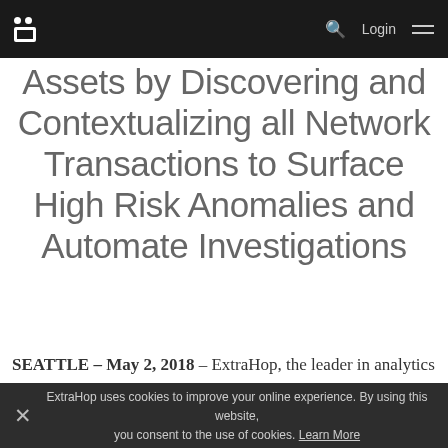ExtraHop — Login
Assets by Discovering and Contextualizing all Network Transactions to Surface High Risk Anomalies and Automate Investigations
SEATTLE – May 2, 2018 – ExtraHop, the leader in analytics for security and performance management, today announced the
ExtraHop uses cookies to improve your online experience. By using this website, you consent to the use of cookies. Learn More